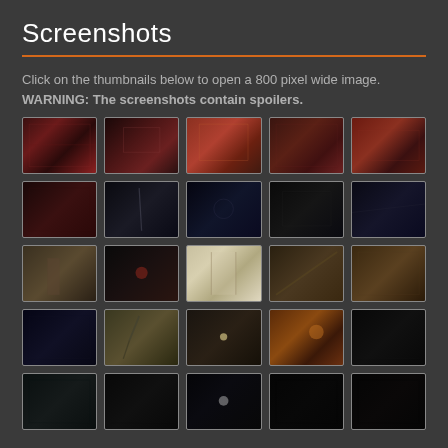Screenshots
Click on the thumbnails below to open a 800 pixel wide image.
WARNING: The screenshots contain spoilers.
[Figure (screenshot): Grid of 24 game screenshots arranged in 5 rows of 5 (with bottom row partially visible), showing dark, red-toned and varied game environments]
[Figure (screenshot): Row 1 screenshot 1: red-toned indoor scene]
[Figure (screenshot): Row 1 screenshot 2: dark red indoor scene]
[Figure (screenshot): Row 1 screenshot 3: orange-red scene]
[Figure (screenshot): Row 1 screenshot 4: dark red corridor]
[Figure (screenshot): Row 1 screenshot 5: red industrial scene]
[Figure (screenshot): Row 2 screenshot 1: dark red scene]
[Figure (screenshot): Row 2 screenshot 2: very dark scene with figure]
[Figure (screenshot): Row 2 screenshot 3: dark blue scene]
[Figure (screenshot): Row 2 screenshot 4: dark minimal scene]
[Figure (screenshot): Row 2 screenshot 5: dark blue corridor]
[Figure (screenshot): Row 3 screenshot 1: tan/brown indoor scene with figure]
[Figure (screenshot): Row 3 screenshot 2: dark scene with effects]
[Figure (screenshot): Row 3 screenshot 3: bright corridor/hallway scene]
[Figure (screenshot): Row 3 screenshot 4: diagonal structural scene]
[Figure (screenshot): Row 3 screenshot 5: dark brown indoor scene]
[Figure (screenshot): Row 4 screenshot 1: dark blue scene]
[Figure (screenshot): Row 4 screenshot 2: outdoor scene with tree]
[Figure (screenshot): Row 4 screenshot 3: dark indoor scene with light]
[Figure (screenshot): Row 4 screenshot 4: orange-lit scene]
[Figure (screenshot): Row 4 screenshot 5: dark scene]
[Figure (screenshot): Row 5 screenshot 1: dark teal scene]
[Figure (screenshot): Row 5 screenshot 2: very dark scene]
[Figure (screenshot): Row 5 screenshot 3: dark scene with spot light]
[Figure (screenshot): Row 5 screenshot 4: very dark scene]
[Figure (screenshot): Row 5 screenshot 5: dark scene]